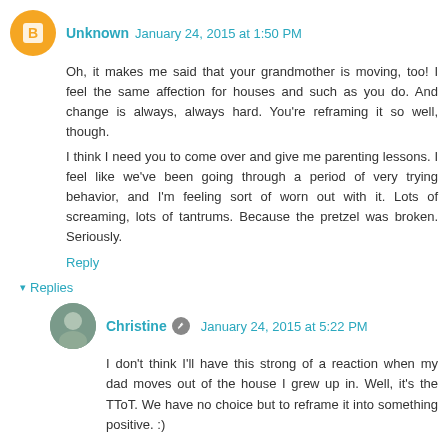Unknown  January 24, 2015 at 1:50 PM
Oh, it makes me said that your grandmother is moving, too! I feel the same affection for houses and such as you do. And change is always, always hard. You're reframing it so well, though.
I think I need you to come over and give me parenting lessons. I feel like we've been going through a period of very trying behavior, and I'm feeling sort of worn out with it. Lots of screaming, lots of tantrums. Because the pretzel was broken. Seriously.
Reply
Replies
Christine  January 24, 2015 at 5:22 PM
I don't think I'll have this strong of a reaction when my dad moves out of the house I grew up in. Well, it's the TToT. We have no choice but to reframe it into something positive. :)